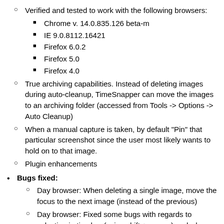Verified and tested to work with the following browsers:
Chrome v. 14.0.835.126 beta-m
IE 9.0.8112.16421
Firefox 6.0.2
Firefox 5.0
Firefox 4.0
True archiving capabilities. Instead of deleting images during auto-cleanup, TimeSnapper can move the images to an archiving folder (accessed from Tools -> Options -> Auto Cleanup)
When a manual capture is taken, by default "Pin" that particular screenshot since the user most likely wants to hold on to that image.
Plugin enhancements
Bugs fixed:
Day browser: When deleting a single image, move the focus to the next image (instead of the previous)
Day browser: Fixed some bugs with regards to selection in timebar (using shift + arrows) and when displaying